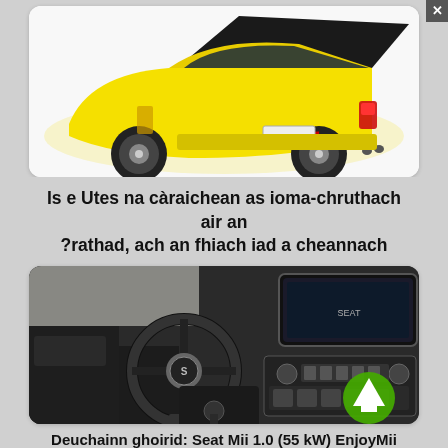[Figure (photo): Yellow ute/pickup-style car with hood open, viewed from rear three-quarter angle, on white background]
Is e Utes na càraichean as ioma-chruthach air an ?rathad, ach an fhiach iad a cheannach
[Figure (photo): Interior of a SEAT Mii car showing steering wheel, dashboard, infotainment screen, and gear shift. A green upward arrow icon overlays the bottom right corner.]
Deuchainn ghoirid: Seat Mii 1.0 (55 kW) EnjoyMii